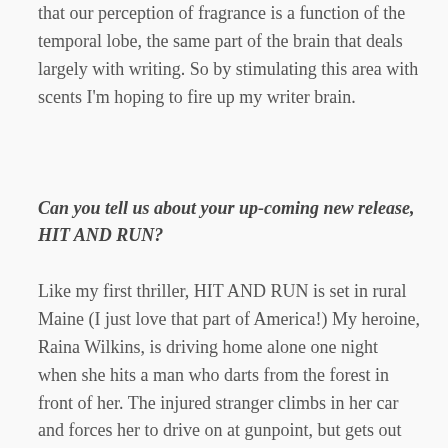that our perception of fragrance is a function of the temporal lobe, the same part of the brain that deals largely with writing. So by stimulating this area with scents I'm hoping to fire up my writer brain.
Can you tell us about your up-coming new release, HIT AND RUN?
Like my first thriller, HIT AND RUN is set in rural Maine (I just love that part of America!) My heroine, Raina Wilkins, is driving home alone one night when she hits a man who darts from the forest in front of her. The injured stranger climbs in her car and forces her to drive on at gunpoint, but gets out soon after and disappears back into the woods. Raina thinks never to see him again, but Alex DeMarco has